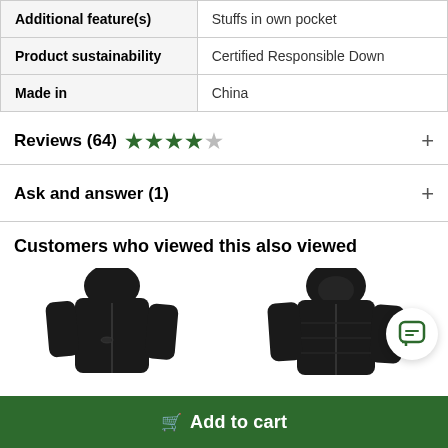| Additional feature(s) | Stuffs in own pocket |
| Product sustainability | Certified Responsible Down |
| Made in | China |
Reviews (64) ★★★★☆ +
Ask and answer (1) +
Customers who viewed this also viewed
[Figure (photo): Two black hooded down jackets shown side by side]
🛒 Add to cart